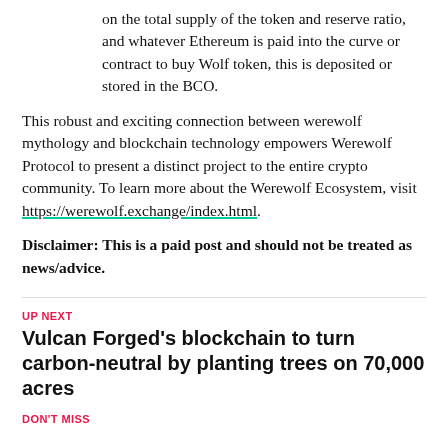on the total supply of the token and reserve ratio, and whatever Ethereum is paid into the curve or contract to buy Wolf token, this is deposited or stored in the BCO.
This robust and exciting connection between werewolf mythology and blockchain technology empowers Werewolf Protocol to present a distinct project to the entire crypto community. To learn more about the Werewolf Ecosystem, visit https://werewolf.exchange/index.html.
Disclaimer: This is a paid post and should not be treated as news/advice.
UP NEXT
Vulcan Forged's blockchain to turn carbon-neutral by planting trees on 70,000 acres
DON'T MISS